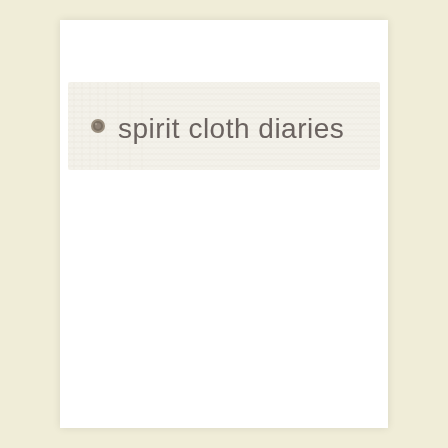[Figure (illustration): A rectangular banner tag with a linen/cloth texture background, a small round metallic brad/rivet on the left side, and the text 'spirit cloth diaries' in light grey sans-serif font.]